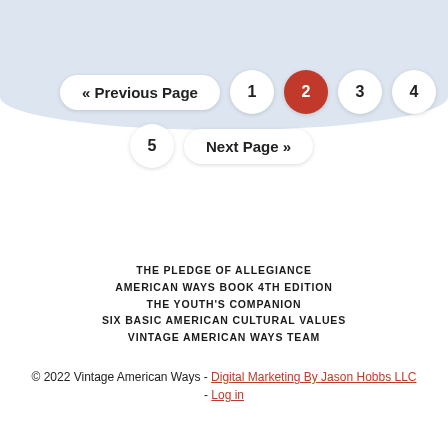[Figure (infographic): Pagination navigation with Previous Page button, page numbers 1, 2 (active/red), 3, 4, 5, and Next Page button on a light blue background arc]
THE PLEDGE OF ALLEGIANCE
AMERICAN WAYS BOOK 4TH EDITION
THE YOUTH'S COMPANION
SIX BASIC AMERICAN CULTURAL VALUES
VINTAGE AMERICAN WAYS TEAM
© 2022 Vintage American Ways - Digital Marketing By Jason Hobbs LLC - Log in